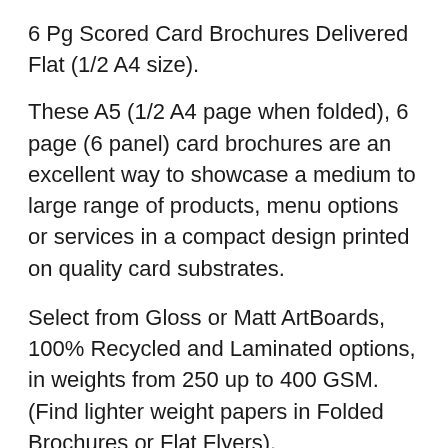6 Pg Scored Card Brochures Delivered Flat (1/2 A4 size).
These A5 (1/2 A4 page when folded), 6 page (6 panel) card brochures are an excellent way to showcase a medium to large range of products, menu options or services in a compact design printed on quality card substrates.
Select from Gloss or Matt ArtBoards, 100% Recycled and Laminated options, in weights from 250 up to 400 GSM. (Find lighter weight papers in Folded Brochures or Flat Flyers).
Your card brochures are printed on state of the art 4-colour-process machines, then scored and delivered flat ready for easy folding to the perfectly finished A5 (210 x 148mm) size.